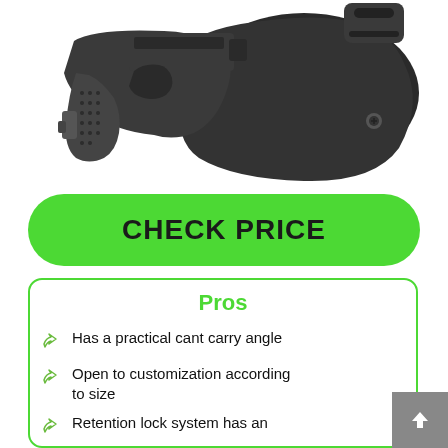[Figure (photo): Black IWB (inside the waistband) gun holster with a belt clip, shown alongside a black handgun. Both items are photographed against a white background.]
CHECK PRICE
Pros
Has a practical cant carry angle
Open to customization according to size
Retention lock system has an